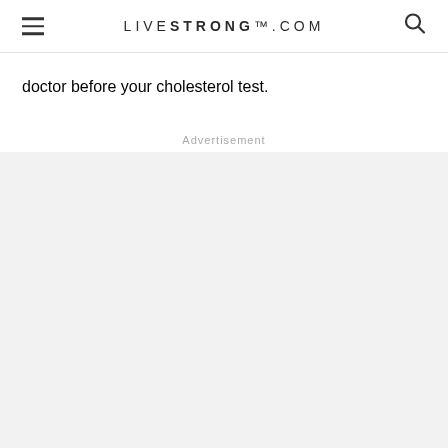LIVESTRONG.COM
doctor before your cholesterol test.
Advertisement